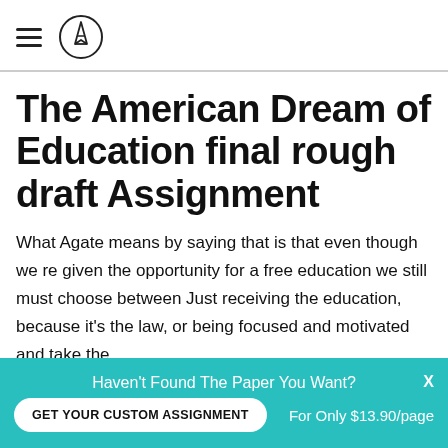[hamburger menu icon] [pencil logo icon]
The American Dream of Education final rough draft Assignment
What Agate means by saying that is that even though we re given the opportunity for a free education we still must choose between Just receiving the education, because it's the law, or being focused and motivated and take the
Haven't Found The Paper You Want? GET YOUR CUSTOM ASSIGNMENT For Only $13.90/page X